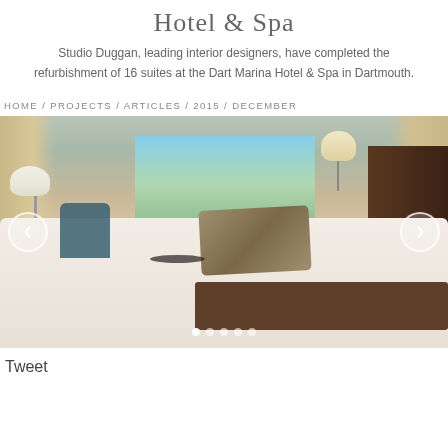Hotel & Spa
Studio Duggan, leading interior designers, have completed the refurbishment of 16 suites at the Dart Marina Hotel & Spa in Dartmouth.
HOME / PROJECTS / ARTICLES / 2015 / DECEMBER
[Figure (photo): Hotel suite interior showing a large bed with decorative pillows and runner, teal armchairs, a table, floor-length curtains, and a window with a marina/river view surrounded by green hills.]
Tweet